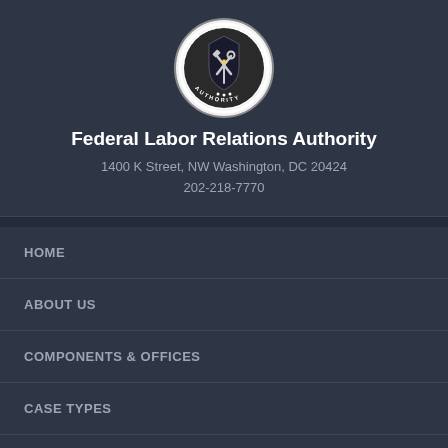[Figure (logo): Federal Labor Relations Authority circular seal/logo featuring a shield with crossed tools and torch, surrounded by text reading 'UNITED STATES FEDERAL LABOR RELATIONS AUTHORITY']
Federal Labor Relations Authority
1400 K Street, NW Washington, DC 20424
202-218-7770
HOME
ABOUT US
COMPONENTS & OFFICES
CASE TYPES
DECISIONS